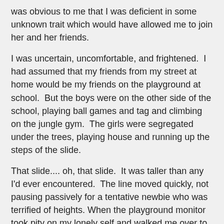was obvious to me that I was deficient in some unknown trait which would have allowed me to join her and her friends.
I was uncertain, uncomfortable, and frightened.  I had assumed that my friends from my street at home would be my friends on the playground at school.  But the boys were on the other side of the school, playing ball games and tag and climbing on the jungle gym.  The girls were segregated under the trees, playing house and running up the steps of the slide.
That slide.... oh, that slide.  It was taller than any I'd ever encountered.  The line moved quickly, not pausing passively for a tentative newbie who was terrified of heights. When the playground monitor took pity on my lonely self and walked me over to join the line, I was living a nightmare.  Nearly 60 years later I can, without much effort, conjure up the fear I felt as I stood at the top, too scared to bend my knees and sit down.
That feeling of social isolation and physical terror was with me all through elementary school.  I didn't like the school